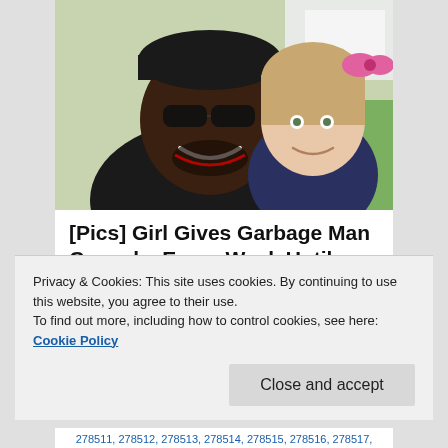[Figure (photo): A man wearing sunglasses and a black cap smiling, with a young blonde girl beside him wearing a pink bow, outdoors near a truck.]
[Pics] Girl Gives Garbage Man Cupcake Every Week Until Dad...
HealthyGem
Privacy & Cookies: This site uses cookies. By continuing to use this website, you agree to their use.
To find out more, including how to control cookies, see here: Cookie Policy
278511, 278512, 278513, 278514, 278515, 278516, 278517,